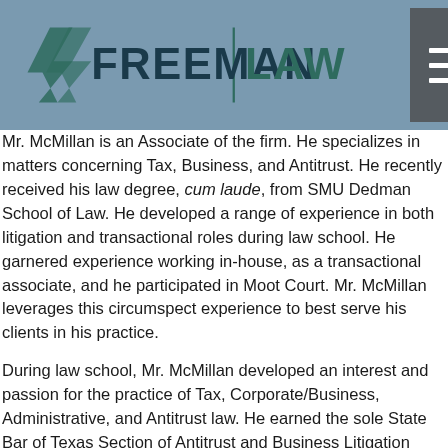Freeman Law — navigation header with logo
Mr. McMillan is an Associate of the firm. He specializes in matters concerning Tax, Business, and Antitrust. He recently received his law degree, cum laude, from SMU Dedman School of Law. He developed a range of experience in both litigation and transactional roles during law school. He garnered experience working in-house, as a transactional associate, and he participated in Moot Court. Mr. McMillan leverages this circumspect experience to best serve his clients in his practice.
During law school, Mr. McMillan developed an interest and passion for the practice of Tax, Corporate/Business, Administrative, and Antitrust law. He earned the sole State Bar of Texas Section of Antitrust and Business Litigation Scholarship in 2020. Additionally, Mr. McMillan earned Dean's List recognition. He was an active member of the Tax Law Society and Corporate Law Association. He served on the Finance Committee and was Chair of the Sports Committee of the Student Bar Association.
He earned a Bachelor of Science in Economics with Finance Applications with a Minor in Business from SMU in 2014. After graduation he worked for a mid-sized business specializing in strategic